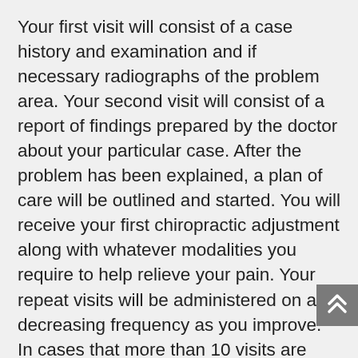Your first visit will consist of a case history and examination and if necessary radiographs of the problem area. Your second visit will consist of a report of findings prepared by the doctor about your particular case. After the problem has been explained, a plan of care will be outlined and started. You will receive your first chiropractic adjustment along with whatever modalities you require to help relieve your pain. Your repeat visits will be administered on a decreasing frequency as you improve. In cases that more than 10 visits are required, you will receive a progress evaluation approximately every 4 weeks. This helps us chart your progress and document your care which is necessary if you are relying on insurance to pay your bill. During the course of care, most patients with acute back pain will begin receiving electrical muscle stimulation along with moist heat or even ice therapy in the beginning. As muscles spasms and symptoms